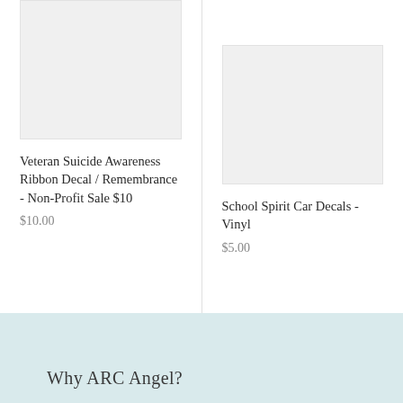[Figure (photo): Product image placeholder – light gray box for Veteran Suicide Awareness Ribbon Decal]
Veteran Suicide Awareness Ribbon Decal / Remembrance - Non-Profit Sale $10
$10.00
[Figure (photo): Product image placeholder – light gray box for School Spirit Car Decals - Vinyl]
School Spirit Car Decals - Vinyl
$5.00
Why ARC Angel?